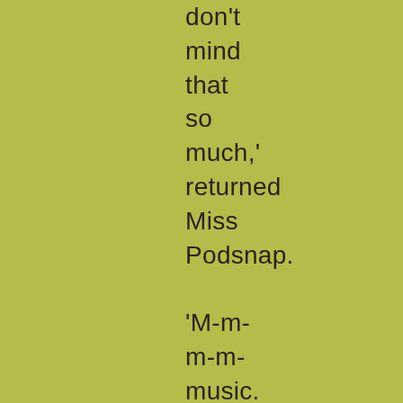don't mind that so much,' returned Miss Podsnap.

'M-m-m-m-music. So insinuating was Mrs Lammle that she